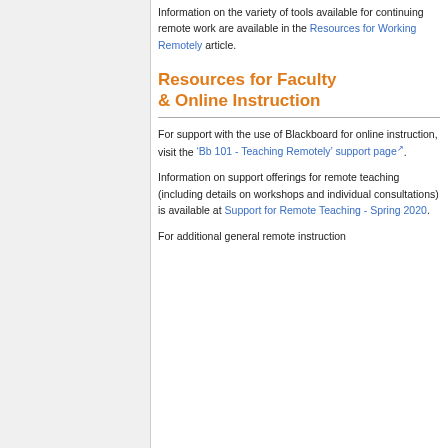Information on the variety of tools available for continuing remote work are available in the Resources for Working Remotely article.
Resources for Faculty & Online Instruction
For support with the use of Blackboard for online instruction, visit the ‘Bb 101 - Teaching Remotely’ support page.
Information on support offerings for remote teaching (including details on workshops and individual consultations) is available at Support for Remote Teaching - Spring 2020.
For additional general remote instruction